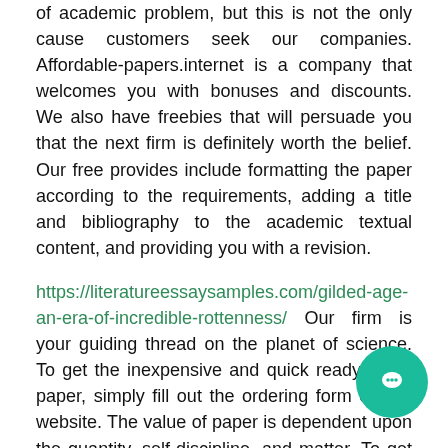of academic problem, but this is not the only cause customers seek our companies. Affordable-papers.internet is a company that welcomes you with bonuses and discounts. We also have freebies that will persuade you that the next firm is definitely worth the belief. Our free provides include formatting the paper according to the requirements, adding a title and bibliography to the academic textual content, and providing you with a revision.
https://literatureessaysamples.com/gilded-age-an-era-of-incredible-rottenness/ Our firm is your guiding thread on the planet of science. To get the inexpensive and quick ready-made paper, simply fill out the ordering form on the website. The value of paper is dependent upon the quantity, self-discipline, and matter. To get high-quality text, you should specify the teacherâs requirements and different nuances intimately.
Get your self familiar with profiles, scores, prospects’ reactions to hire an expert paper writer who ticks all boxes and nails each reply. In addition to forgoing the personal information ts, https://literatureessaysamples.com/a-little-touch-of-harry-intimacy-and-twin-born/ we utilize several legal and ble methods to ensure your privacy can't be compromised. For